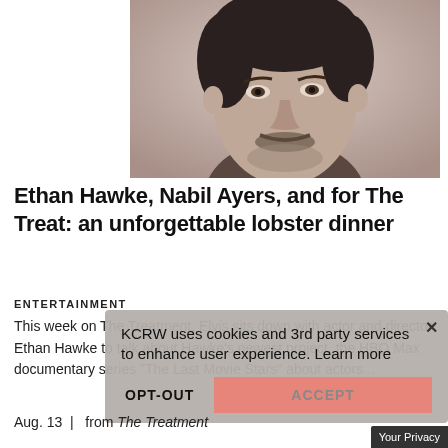[Figure (photo): Black and white close-up portrait of actor Ethan Hawke with stubble and tousled dark hair, looking upward]
Ethan Hawke, Nabil Ayers, and for The Treat: an unforgettable lobster dinner
ENTERTAINMENT
This week on The Treatment, Elvis sits down with actor and director Ethan Hawke to talk about Hawke's newest project, the HBO Max documentary series "The Last Movie Stars" about actors...
KCRW uses cookies and 3rd party services to enhance user experience. Learn more
OPT-OUT
ACCEPT
Aug. 13  |  from The Treatment
Your Privacy